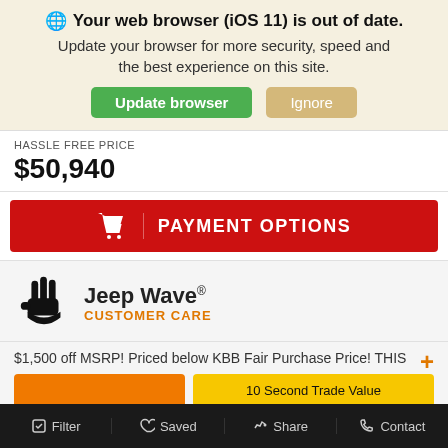🌐 Your web browser (iOS 11) is out of date. Update your browser for more security, speed and the best experience on this site. Update browser | Ignore
HASSLE FREE PRICE
$50,940
[Figure (screenshot): Red PAYMENT OPTIONS button with shopping cart icon]
[Figure (logo): Jeep Wave Customer Care logo with hand icon]
$1,500 off MSRP! Priced below KBB Fair Purchase Price! THIS
APPLY FOR FINANCING
10 Second Trade Value
10 Second Trade Value
Filter  Saved  Share  Contact